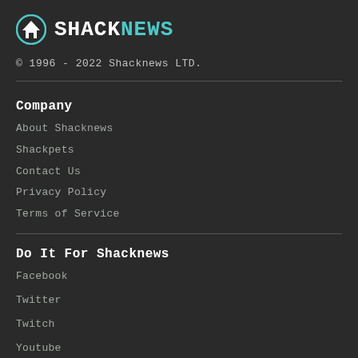[Figure (logo): Shacknews logo with house icon and teal NEWS text]
© 1996 - 2022 Shacknews LTD.
Company
About Shacknews
Shackpets
Contact Us
Privacy Policy
Terms of Service
Do It For Shacknews
Facebook
Twitter
Twitch
Youtube
Subscribe